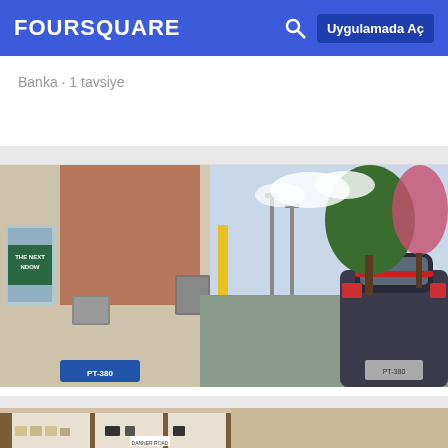FOURSQUARE | Uygulamada Aç
Banka · 1 tavsiye
[Figure (photo): Street photo of a Taco Bell drive-through with a MINI Cooper car waiting at window, brick building with signage visible, parking lot and trees in background]
21. Taco Bell
2815 Ridge Rd, Rockwall, TX
Fast Food Restoranı · 2 tavsiye ve inceleme
[Figure (photo): Interior of a retail store showing display shelves with products, wooden counters, modern interior design]